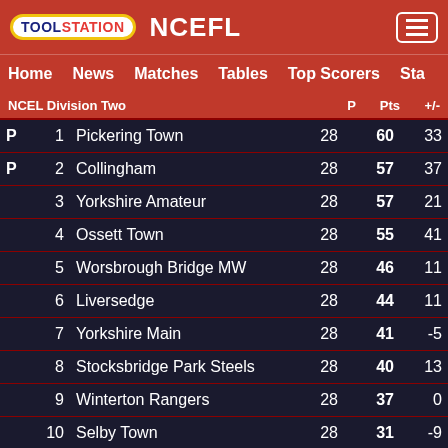TOOLSTATION NCEFL
Home  News  Matches  Tables  Top Scorers  Sta
|  | Pos | Club | P | Pts | +/- |
| --- | --- | --- | --- | --- | --- |
| P | 1 | Pickering Town | 28 | 60 | 33 |
| P | 2 | Collingham | 28 | 57 | 37 |
|  | 3 | Yorkshire Amateur | 28 | 57 | 21 |
|  | 4 | Ossett Town | 28 | 55 | 41 |
|  | 5 | Worsbrough Bridge MW | 28 | 46 | 11 |
|  | 6 | Liversedge | 28 | 44 | 11 |
|  | 7 | Yorkshire Main | 28 | 41 | -5 |
|  | 8 | Stocksbridge Park Steels | 28 | 40 | 13 |
|  | 9 | Winterton Rangers | 28 | 37 | 0 |
|  | 10 | Selby Town | 28 | 31 | -9 |